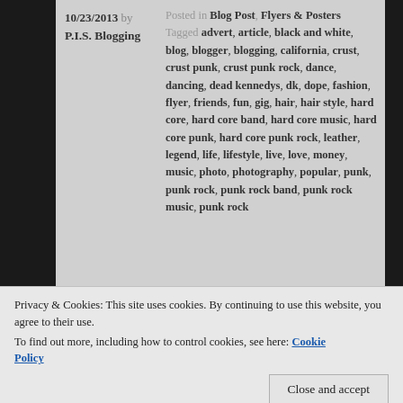10/23/2013 by P.I.S. Blogging
Posted in Blog Post, Flyers & Posters Tagged advert, article, black and white, blog, blogger, blogging, california, crust, crust punk, crust punk rock, dance, dancing, dead kennedys, dk, dope, fashion, flyer, friends, fun, gig, hair, hair style, hard core, hard core band, hard core music, hard core punk, hard core punk rock, leather, legend, life, lifestyle, live, love, money, music, photo, photography, popular, punk, punk rock, punk rock band, punk rock music, punk rock
Privacy & Cookies: This site uses cookies. By continuing to use this website, you agree to their use.
To find out more, including how to control cookies, see here: Cookie Policy
Close and accept
underground music